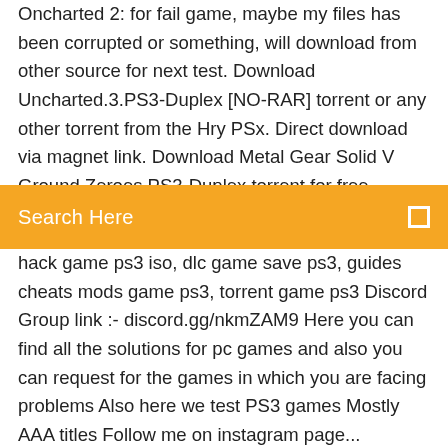Oncharted 2: for fail game, maybe my files has been corrupted or something, will download from other source for next test. Download Uncharted.3.PS3-Duplex [NO-RAR] torrent or any other torrent from the Hry PSx. Direct download via magnet link. Download Metal Gear Solid V Ground Zeroes PS3-Duplex torrent for free, Downloads via Magnet Link or FREE Movies online to
[Figure (other): Orange search bar with text 'Search Here' and a search icon on the right]
hack game ps3 iso, dlc game save ps3, guides cheats mods game ps3, torrent game ps3 Discord Group link :- discord.gg/nkmZAM9 Here you can find all the solutions for pc games and also you can request for the games in which you are facing problems Also here we test PS3 games Mostly AAA titles Follow me on instagram page... [Archive] Tutorials & Topics related to modding your PS3 games, trophies, and save files! Discuss PS3 game modding with the knowledgeable members of PSX-Scene.